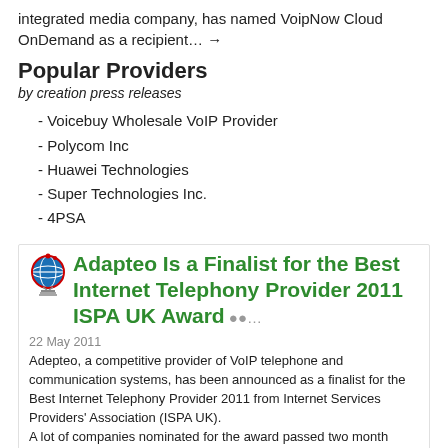integrated media company, has named VoipNow Cloud OnDemand as a recipient… →
Popular Providers
by creation press releases
- Voicebuy Wholesale VoIP Provider
- Polycom Inc
- Huawei Technologies
- Super Technologies Inc.
- 4PSA
Adapteo Is a Finalist for the Best Internet Telephony Provider 2011 ISPA UK Award
22 May 2011
Adepteo, a competitive provider of VoIP telephone and communication systems, has been announced as a finalist for the Best Internet Telephony Provider 2011 from Internet Services Providers' Association (ISPA UK).
A lot of companies nominated for the award passed two month technical testing conducted by Malden Electronics to make the finalist list.